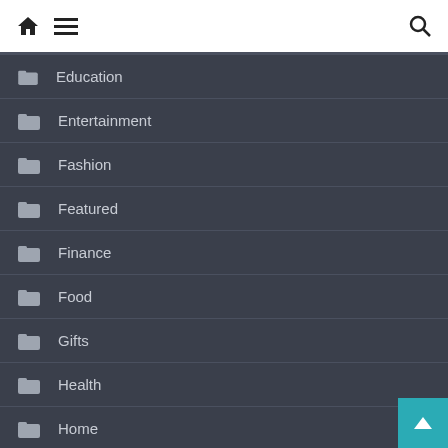Navigation header with home, menu, and search icons
Education
Entertainment
Fashion
Featured
Finance
Food
Gifts
Health
Home
Home Improvement
Industrial Fume Extractors